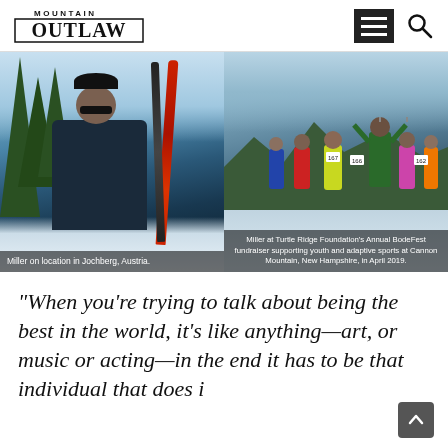Mountain Outlaw — navigation header with hamburger menu and search icon
[Figure (photo): Left photo: Miller on location in Jochberg, Austria — man holding skis in snowy mountain landscape]
Miller on location in Jochberg, Austria.
[Figure (photo): Right photo: Miller at Turtle Ridge Foundation's Annual BodeFest fundraiser supporting youth and adaptive sports at Cannon Mountain, New Hampshire, in April 2019 — crowd of skiers with race bibs raising arms]
Miller at Turtle Ridge Foundation's Annual BodeFest fundraiser supporting youth and adaptive sports at Cannon Mountain, New Hampshire, in April 2019.
“When you’re trying to talk about being the best in the world, it’s like anything—art, or music or acting—in the end it has to be that individual that does i